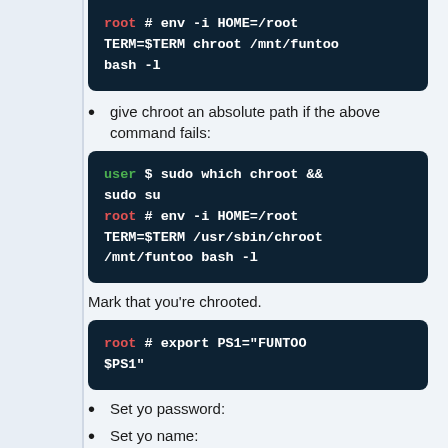[Figure (screenshot): Dark teal code block showing: root # env -i HOME=/root TERM=$TERM chroot /mnt/funtoo bash -l]
give chroot an absolute path if the above command fails:
[Figure (screenshot): Dark teal code block showing: user $ sudo which chroot && sudo su
root # env -i HOME=/root TERM=$TERM /usr/sbin/chroot /mnt/funtoo bash -l]
Mark that you're chrooted.
[Figure (screenshot): Dark teal code block showing: root # export PS1="FUNTOO $PS1"]
Set yo password:
Set yo name:
set cloudflare dns resolution for installing:
Set yo time zone: